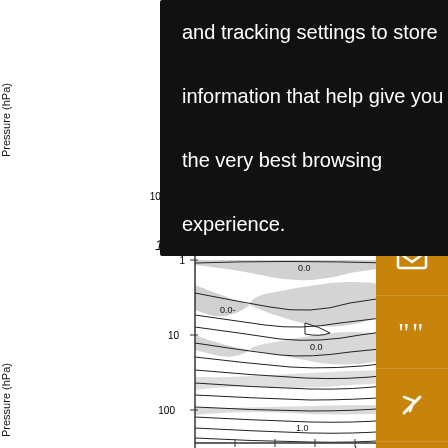[Figure (continuous-plot): Upper contour plot showing pressure (hPa) on y-axis (log scale: 1 to 1000 hPa) with shaded grey regions and contour lines. Part of a scientific atmospheric chart.]
and tracking settings to store information that help give you the very best browsing experience.
[Figure (continuous-plot): Lower contour plot labeled '1860-1959 (%/decade)' showing pressure (hPa) on y-axis (log scale: 1 to 100+ hPa) with contour lines labeled 0.0 and 1.0 and grey shaded regions.]
1860-1959 (%/decade)